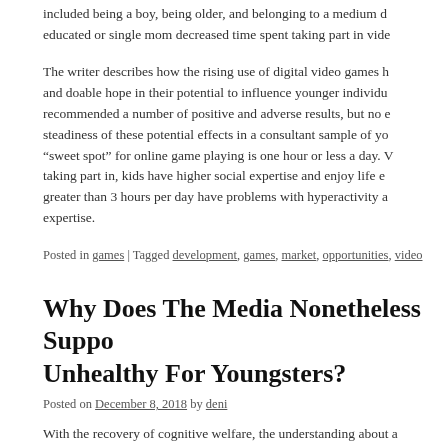included being a boy, being older, and belonging to a medium d educated or single mom decreased time spent taking part in vide
The writer describes how the rising use of digital video games h and doable hope in their potential to influence younger individu recommended a number of positive and adverse results, but no e steadiness of these potential effects in a consultant sample of yo "sweet spot" for online game playing is one hour or less a day. V taking part in, kids have higher social expertise and enjoy life e greater than 3 hours per day have problems with hyperactivity a expertise.
Posted in games | Tagged development, games, market, opportunities, video
Why Does The Media Nonetheless Suppo Unhealthy For Youngsters?
Posted on December 8, 2018 by deni
With the recovery of cognitive welfare, the understanding about a